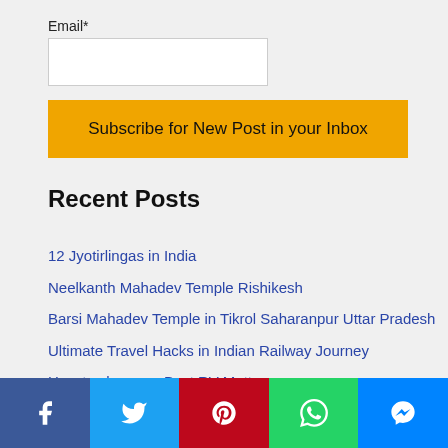Email*
Subscribe for New Post in your Inbox
Recent Posts
12 Jyotirlingas in India
Neelkanth Mahadev Temple Rishikesh
Barsi Mahadev Temple in Tikrol Saharanpur Uttar Pradesh
Ultimate Travel Hacks in Indian Railway Journey
How to choose a Best RV Mattresses
Tapkeshwar Mahadev Mandir Dehradun
GoPro Hero9 Black 5K Video 20MP Camera
[Figure (infographic): Social share bar with Facebook, Twitter, Pinterest, WhatsApp, and Messenger buttons]